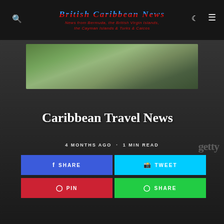[Figure (logo): British Caribbean News logo with stylized red and blue text, italic serif font]
News from Bermuda, the British Virgin Islands, the Cayman Islands & Turks & Caicos
[Figure (photo): Aerial or landscape photo showing green tropical forest/trees from above]
Caribbean Travel News
4 MONTHS AGO · 1 MIN READ
f SHARE
y TWEET
@ PIN
@ SHARE